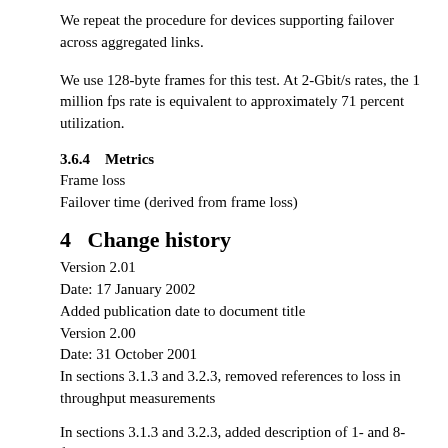We repeat the procedure for devices supporting failover across aggregated links.
We use 128-byte frames for this test. At 2-Gbit/s rates, the 1 million fps rate is equivalent to approximately 71 percent utilization.
3.6.4    Metrics
Frame loss
Failover time (derived from frame loss)
4    Change history
Version 2.01
Date: 17 January 2002
Added publication date to document title
Version 2.00
Date: 31 October 2001
In sections 3.1.3 and 3.2.3, removed references to loss in throughput measurements
In sections 3.1.3 and 3.2.3, added description of 1- and 8-frame burst counts
In sections 3.1.3 and 3.2.3, revised description of delay